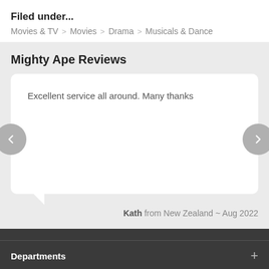Filed under...
Movies & TV > Movies > Drama > Musicals & Dance
Mighty Ape Reviews
Excellent service all around. Many thanks
Kath from New Zealand ~ Aug 2022
Departments +